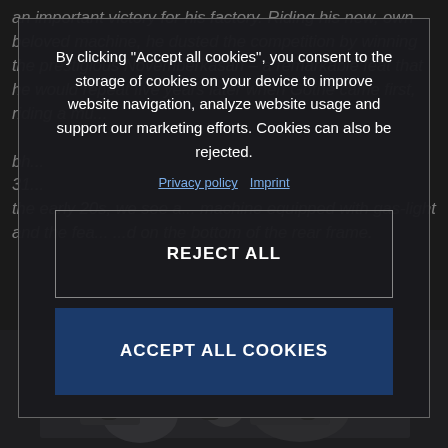an important victory for his factory. Riding his new, own beloved machine, he dusted the competition by winning the prestigious Novemberkasan – a remarkable feat that he would repeat five years later when Göthe came first, riding a mu... bh... 31... the early 20s, we see a... machine equipped with gas-light and the fea... ...d on the bottom of the rear frame.
[Figure (photo): Dark photograph showing motorcycle or racing scene at the bottom of the page]
By clicking "Accept all cookies", you consent to the storage of cookies on your device to improve website navigation, analyze website usage and support our marketing efforts. Cookies can also be rejected.
Privacy policy  Imprint
REJECT ALL
ACCEPT ALL COOKIES